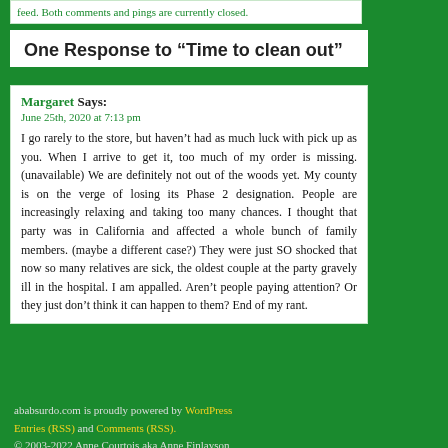feed. Both comments and pings are currently closed.
One Response to “Time to clean out”
Margaret Says:
June 25th, 2020 at 7:13 pm

I go rarely to the store, but haven’t had as much luck with pick up as you. When I arrive to get it, too much of my order is missing. (unavailable) We are definitely not out of the woods yet. My county is on the verge of losing its Phase 2 designation. People are increasingly relaxing and taking too many chances. I thought that party was in California and affected a whole bunch of family members. (maybe a different case?) They were just SO shocked that now so many relatives are sick, the oldest couple at the party gravely ill in the hospital. I am appalled. Aren’t people paying attention? Or they just don’t think it can happen to them? End of my rant.
ababsurdo.com is proudly powered by WordPress
Entries (RSS) and Comments (RSS).
© 2003-2022 Anne Courtois aka Anne Finlayson
Theme by Moom